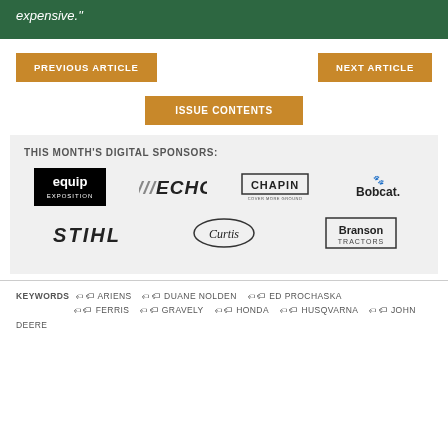expensive."
PREVIOUS ARTICLE
NEXT ARTICLE
ISSUE CONTENTS
THIS MONTH'S DIGITAL SPONSORS:
[Figure (logo): Sponsor logos: equip EXPOSITION, ECHO, CHAPIN, Bobcat, STIHL, Curtis, Branson Tractors]
KEYWORDS  🏷 ARIENS  🏷 DUANE NOLDEN  🏷 ED PROCHASKA  🏷 FERRIS  🏷 GRAVELY  🏷 HONDA  🏷 HUSQVARNA  🏷 JOHN DEERE